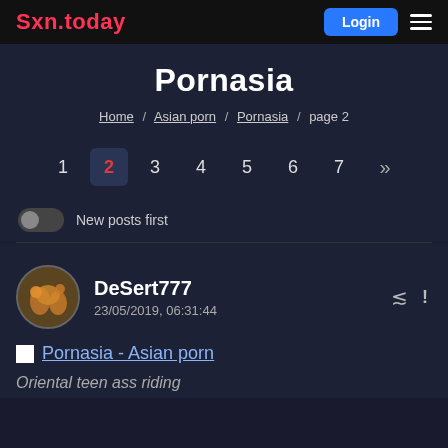Sxn.today
Pornasia
Home / Asian porn / Pornasia / page 2
1 2 3 4 5 6 7 »
New posts first
DeSert777
23/05/2019, 06:31:44
Pornasia - Asian porn
Oriental teen ass riding